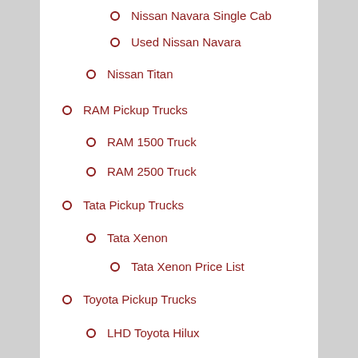Nissan Navara Single Cab
Used Nissan Navara
Nissan Titan
RAM Pickup Trucks
RAM 1500 Truck
RAM 2500 Truck
Tata Pickup Trucks
Tata Xenon
Tata Xenon Price List
Toyota Pickup Trucks
LHD Toyota Hilux
Toyota Hilux
Toyota Hilux Australia